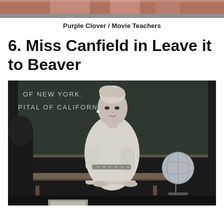[Figure (photo): Top partial image showing colorful clothing, cropped at top of page]
Purple Clover / Movie Teachers
6. Miss Canfield in Leave it to Beaver
[Figure (photo): Black and white photo of Miss Canfield, a woman in a short-sleeve dress with a patterned belt, standing at a classroom desk sorting papers, with a blackboard behind her showing partial text 'OF NEW YORK. PITAL OF CALIFORNIA.' and a globe on a stand to her right]